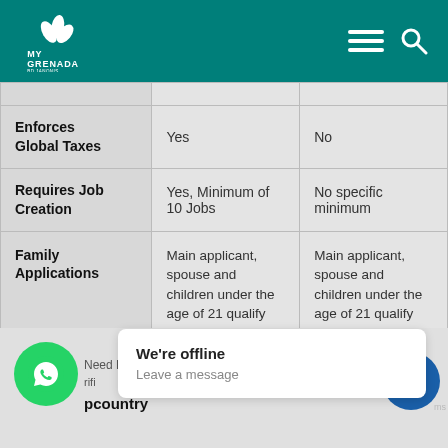My Grenada
|  |  |  |
| --- | --- | --- |
|  |  |  |
| Enforces Global Taxes | Yes | No |
| Requires Job Creation | Yes, Minimum of 10 Jobs | No specific minimum |
| Family Applications | Main applicant, spouse and children under the age of 21 qualify | Main applicant, spouse and children under the age of 21 qualify |
Need Help? ... country
We're offline
Leave a message